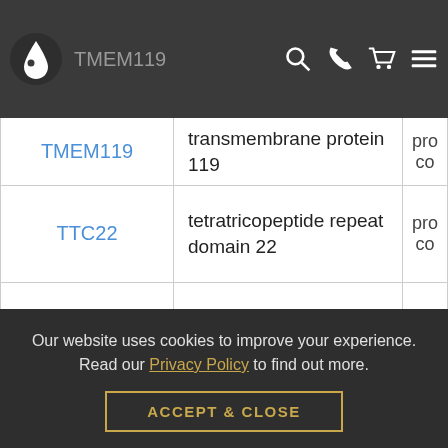TMEM119
| Gene | Full Name | Type |
| --- | --- | --- |
| TMEM119 | transmembrane protein 119 | pro co |
| TTC22 | tetratricopeptide repeat domain 22 | pro co |
| TDRD5 | tudor domain containing 5 | pro co |
| TMEM74B | transmembrane protein 74B | pro co |
| TKTL2 | transketolase like 2 | pro co |
Our website uses cookies to improve your experience. Read our Privacy Policy to find out more.
ACCEPT & CLOSE